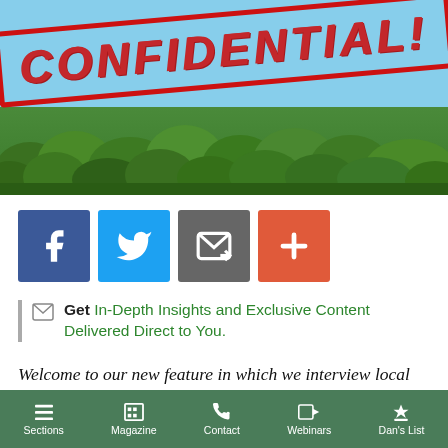[Figure (photo): Header image showing a blue sky background with green hedge/shrubs at the bottom, and a large red 'CONFIDENTIAL!' stamp text overlaid at an angle]
[Figure (infographic): Social sharing buttons: Facebook (blue), Twitter (light blue), Email (grey), Plus/More (orange-red)]
Get In-Depth Insights and Exclusive Content Delivered Direct to You.
Welcome to our new feature in which we interview local personalities: agents, architects, interior designers, builders, anyone who plays a part in the world of Hamptons real estate. Want to get in
Sections | Magazine | Contact | Webinars | Dan's List